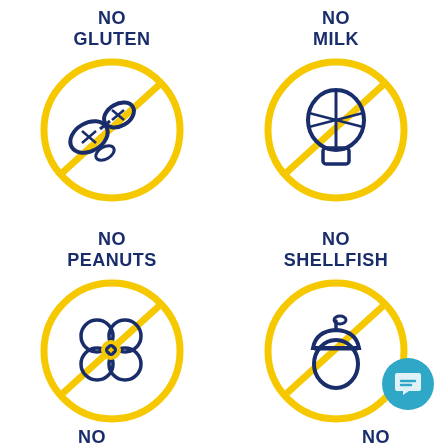[Figure (infographic): No Gluten icon: yellow circle with diagonal slash, peanut icon inside (dark blue outline)]
NO GLUTEN
[Figure (infographic): No Milk icon: yellow circle with diagonal slash, hot air balloon icon inside (dark blue outline)]
NO MILK
NO PEANUTS
NO SHELLFISH
[Figure (infographic): No Peanuts icon: yellow circle with diagonal slash, peanuts cluster icon inside (dark blue outline)]
[Figure (infographic): No Shellfish icon: yellow circle with diagonal slash, acorn/nut icon inside (dark blue outline)]
NO
NO